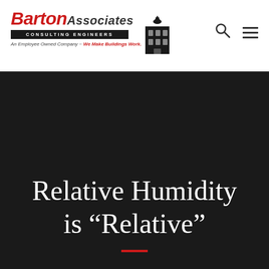[Figure (logo): Barton Associates Consulting Engineers logo with building icon, tagline 'An Employee Owned Company ~ We Make Buildings Work.']
Relative Humidity is “Relative”